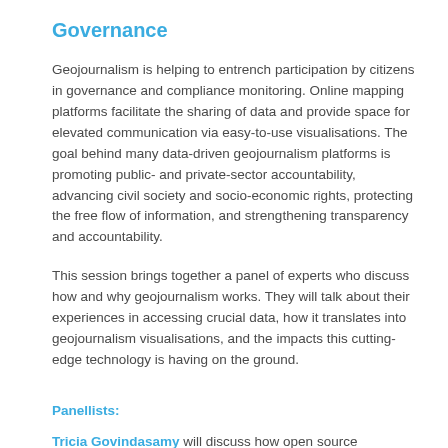Governance
Geojournalism is helping to entrench participation by citizens in governance and compliance monitoring. Online mapping platforms facilitate the sharing of data and provide space for elevated communication via easy-to-use visualisations. The goal behind many data-driven geojournalism platforms is promoting public- and private-sector accountability, advancing civil society and socio-economic rights, protecting the free flow of information, and strengthening transparency and accountability.
This session brings together a panel of experts who discuss how and why geojournalism works. They will talk about their experiences in accessing crucial data, how it translates into geojournalism visualisations, and the impacts this cutting-edge technology is having on the ground.
Panellists:
Tricia Govindasamy will discuss how open source innovations